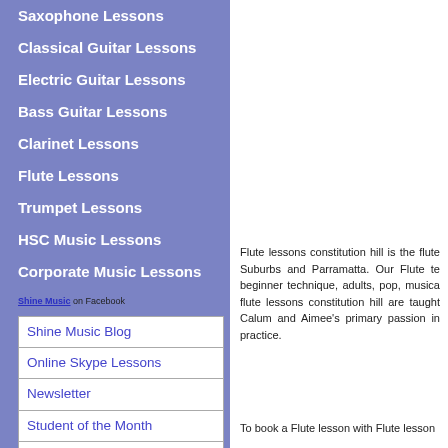Saxophone Lessons
Classical Guitar Lessons
Electric Guitar Lessons
Bass Guitar Lessons
Clarinet Lessons
Flute Lessons
Trumpet Lessons
HSC Music Lessons
Corporate Music Lessons
Shine Music on Facebook
Shine Music Blog
Online Skype Lessons
Newsletter
Student of the Month
Free Online Guitar Tuner
Free Online Violin Tuner
Free Online Metronome
Flute lessons constitution hill is the flute Suburbs and Parramatta. Our Flute te beginner technique, adults, pop, musica flute lessons constitution hill are taught Calum and Aimee's primary passion in practice.
To book a Flute lesson with Flute lesson